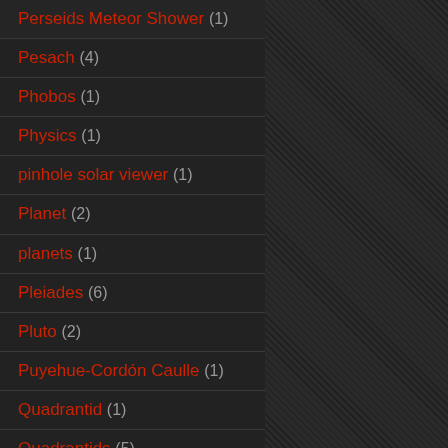Perseids Meteor Shower (1)
Pesach (4)
Phobos (1)
Physics (1)
pinhole solar viewer (1)
Planet (2)
planets (1)
Pleiades (6)
Pluto (2)
Puyehue-Cordón Caulle (1)
Quadrantid (1)
Quadrantids (5)
radiant (1)
Radiant (meteor shower) (2)